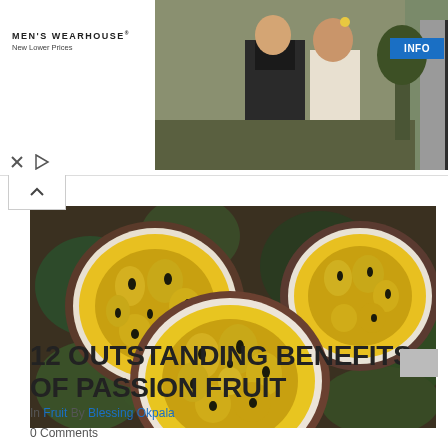[Figure (photo): Men's Wearhouse advertisement banner showing a couple in wedding attire and a man in a suit with an INFO button]
[Figure (photo): Close-up photo of passion fruits, several cut in half showing yellow-orange pulp and seeds]
12 OUTSTANDING BENEFITS OF PASSION FRUIT
In Fruit By Blessing Okpala
0 Comments